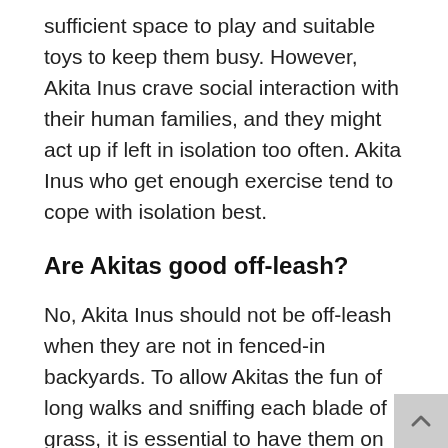sufficient space to play and suitable toys to keep them busy. However, Akita Inus crave social interaction with their human families, and they might act up if left in isolation too often. Akita Inus who get enough exercise tend to cope with isolation best.
Are Akitas good off-leash?
No, Akita Inus should not be off-leash when they are not in fenced-in backyards. To allow Akitas the fun of long walks and sniffing each blade of grass, it is essential to have them on sturdy leashes. If the Inus are properly socialized, taking them for a walk should be